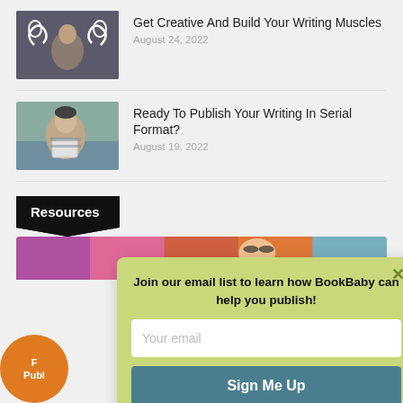[Figure (photo): Person with illustrated flexing muscle arms drawn on chalkboard behind them, thinking pose]
Get Creative And Build Your Writing Muscles
August 24, 2022
[Figure (photo): Person sitting on couch reading on a tablet, wearing striped shirt and beanie hat]
Ready To Publish Your Writing In Serial Format?
August 19, 2022
Resources
[Figure (photo): Partial view of book covers in a row]
Join our email list to learn how BookBaby can help you publish!
Your email
Sign Me Up
[Figure (illustration): Orange circle with partial text 'F... Publ...']
[Figure (illustration): Cookie consent icon - circle with cookie dots, dark blue outline]